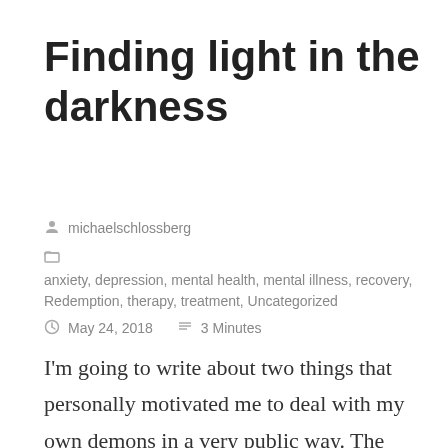Finding light in the darkness
michaelschlossberg
anxiety, depression, mental health, mental illness, recovery, Redemption, therapy, treatment, Uncategorized
May 24, 2018   3 Minutes
I'm going to write about two things that personally motivated me to deal with my own demons in a very public way. The short-term inspiration for this is me rereading the acknowledgements section of Redemption. The longer-term inspiration for this is a public tragedy and a low period in my life.